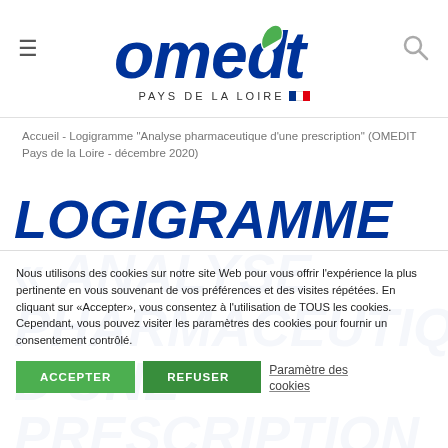[Figure (logo): Omedit Pays de la Loire logo — blue bold italic text 'omedit' with a green/white capsule pill replacing the letter 'i', tagline 'PAYS DE LA LOIRE' with French tricolor flag]
Accueil - Logigramme "Analyse pharmaceutique d'une prescription" (OMEDIT Pays de la Loire - décembre 2020)
LOGIGRAMME « ANALYSE PHARMACEUTIQUE D'UNE PRESCRIPTION » (OMEDIT PAYS DE LA LOIRE - DÉCEMBRE 2020)
Nous utilisons des cookies sur notre site Web pour vous offrir l'expérience la plus pertinente en vous souvenant de vos préférences et des visites répétées. En cliquant sur «Accepter», vous consentez à l'utilisation de TOUS les cookies. Cependant, vous pouvez visiter les paramètres des cookies pour fournir un consentement contrôlé.